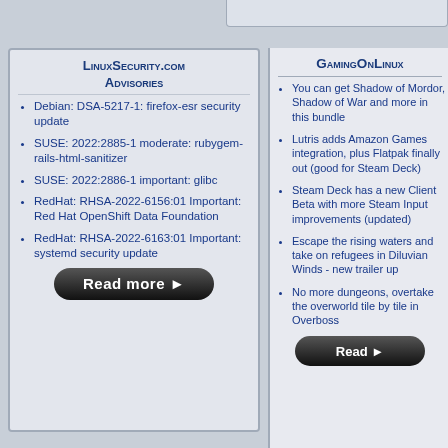LinuxSecurity.com Advisories
Debian: DSA-5217-1: firefox-esr security update
SUSE: 2022:2885-1 moderate: rubygem-rails-html-sanitizer
SUSE: 2022:2886-1 important: glibc
RedHat: RHSA-2022-6156:01 Important: Red Hat OpenShift Data Foundation
RedHat: RHSA-2022-6163:01 Important: systemd security update
GamingOnLinux
You can get Shadow of Mordor, Shadow of War and more in this bundle
Lutris adds Amazon Games integration, plus Flatpak finally out (good for Steam Deck)
Steam Deck has a new Client Beta with more Steam Input improvements (updated)
Escape the rising waters and take on refugees in Diluvian Winds - new trailer up
No more dungeons, overtake the overworld tile by tile in Overboss